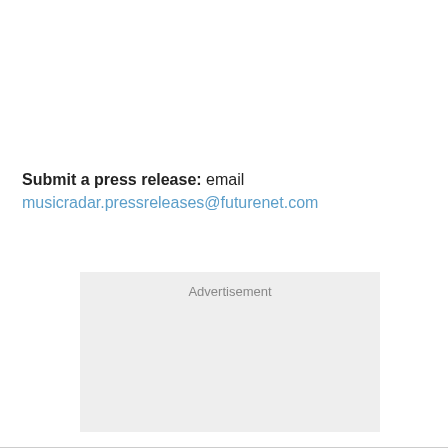Submit a press release: email musicradar.pressreleases@futurenet.com
[Figure (other): Advertisement placeholder box with light gray background and the label 'Advertisement' at the top center.]